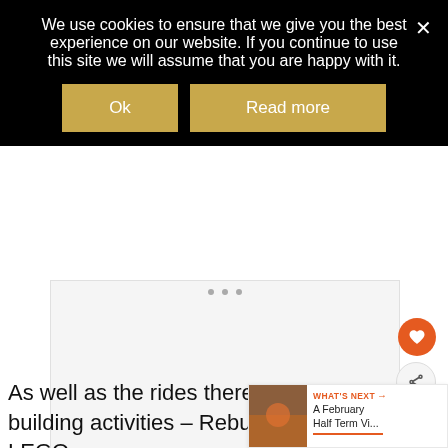We use cookies to ensure that we give you the best experience on our website. If you continue to use this site we will assume that you are happy with it.
Ok
Read more
[Figure (other): Advertisement/image placeholder area with three small grey dots at the top]
As well as the rides there were brick building activities – Rebuild the World with LEGO which ran every 30 minutes and the Giant LEGO ... where children could help to build a mosaic
WHAT'S NEXT → A February Half Term Vi...